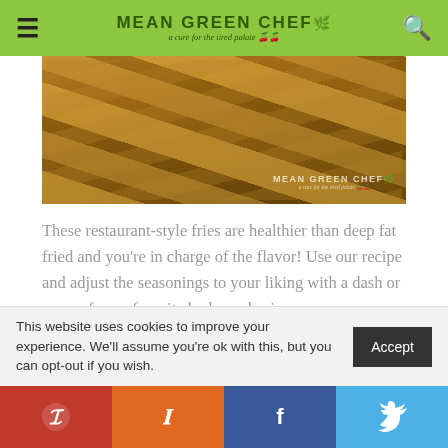MEAN GREEN CHEF — a cure for the tired palate
[Figure (photo): Close-up photo of golden roasted/baked potato wedges on a dark baking sheet, with a Mean Green Chef watermark logo in the lower right corner]
These restaurant-style fries are healthier than deep fat fried and you're in charge of the flavor! Use our recipe and adjust the seasonings to your liking with a dash or more of your favorite herbs and spices.
Irish Food Nerd Alert (I'm Irish it's OK): One of the main causes of the Great Famine in Ireland
This website uses cookies to improve your experience. We'll assume you're ok with this, but you can opt-out if you wish.
Pinterest | Yummly | Facebook | Twitter social share buttons